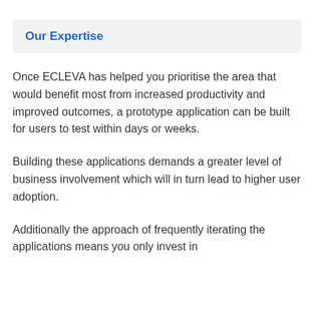Our Expertise
Once ECLEVA has helped you prioritise the area that would benefit most from increased productivity and improved outcomes, a prototype application can be built for users to test within days or weeks.
Building these applications demands a greater level of business involvement which will in turn lead to higher user adoption.
Additionally the approach of frequently iterating the applications means you only invest in